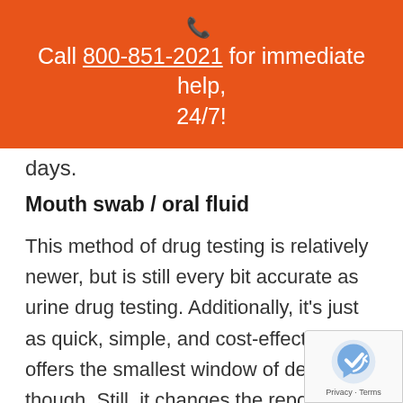📞 Call 800-851-2021 for immediate help, 24/7!
days.
Mouth swab / oral fluid
This method of drug testing is relatively newer, but is still every bit accurate as urine drug testing. Additionally, it's just as quick, simple, and cost-effective. It offers the smallest window of detection though. Still, it changes the reported amount with the...